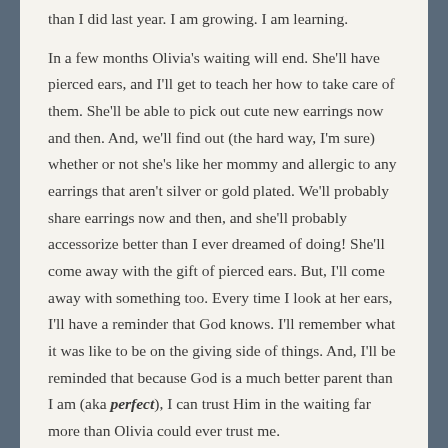than I did last year. I am growing. I am learning.
In a few months Olivia's waiting will end. She'll have pierced ears, and I'll get to teach her how to take care of them. She'll be able to pick out cute new earrings now and then. And, we'll find out (the hard way, I'm sure) whether or not she's like her mommy and allergic to any earrings that aren't silver or gold plated. We'll probably share earrings now and then, and she'll probably accessorize better than I ever dreamed of doing! She'll come away with the gift of pierced ears. But, I'll come away with something too. Every time I look at her ears, I'll have a reminder that God knows. I'll remember what it was like to be on the giving side of things. And, I'll be reminded that because God is a much better parent than I am (aka perfect), I can trust Him in the waiting far more than Olivia could ever trust me.